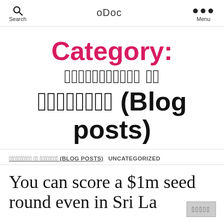Search  oDoc  Menu
Category: [Sinhala text] (Blog posts)
[SINHALA TEXT] (BLOG POSTS)  UNCATEGORIZED
You can score a $1m seed round even in Sri La...